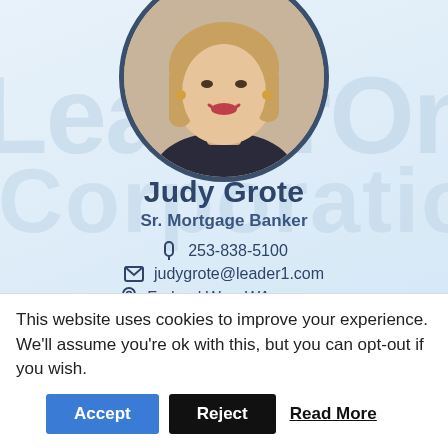[Figure (photo): Circular profile photo of a blonde woman smiling, wearing dark clothing, with a dark navy circular border]
Judy Grote
Sr. Mortgage Banker
253-838-5100
judygrote@leader1.com
Federal Way, WA (Map) →
This website uses cookies to improve your experience. We'll assume you're ok with this, but you can opt-out if you wish.
Accept
Reject
Read More